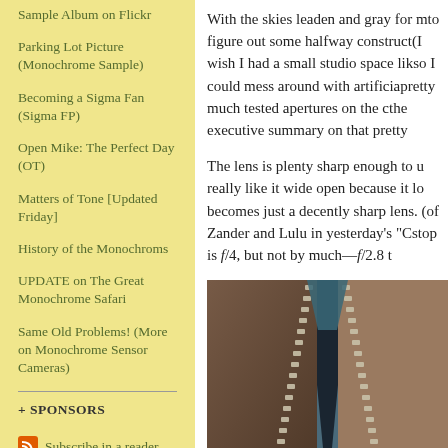Sample Album on Flickr
Parking Lot Picture (Monochrome Sample)
Becoming a Sigma Fan (Sigma FP)
Open Mike: The Perfect Day (OT)
Matters of Tone [Updated Friday]
History of the Monochroms
UPDATE on The Great Monochrome Safari
Same Old Problems! (More on Monochrome Sensor Cameras)
+ SPONSORS
Subscribe in a reader
With the skies leaden and gray for m... to figure out some halfway construct... (I wish I had a small studio space lik... so I could mess around with artificia... pretty much tested apertures on the c... the executive summary on that pretty...
The lens is plenty sharp enough to u... really like it wide open because it lo... becomes just a decently sharp lens. (... of Zander and Lulu in yesterday's "C... stop is f/4, but not by much—f/2.8 t...
[Figure (photo): Close-up photograph of a zipper on a brown leather or fabric jacket, showing zipper teeth and surrounding material with blue/teal fabric visible behind the open zipper.]